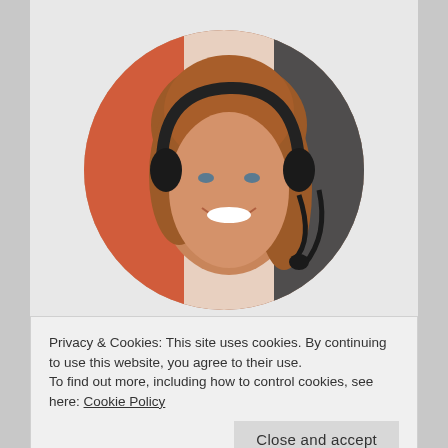[Figure (photo): Circular cropped photo of a smiling woman with long auburn/red hair wearing a black headset with microphone, colorful patterned background visible behind her.]
Privacy & Cookies: This site uses cookies. By continuing to use this website, you agree to their use.
To find out more, including how to control cookies, see here: Cookie Policy
Close and accept
we need Geelong to be a healthy